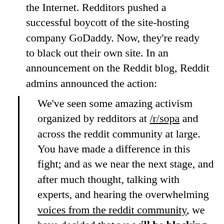the Internet. Redditors pushed a successful boycott of the site-hosting company GoDaddy. Now, they're ready to black out their own site. In an announcement on the Reddit blog, Reddit admins announced the action:
We've seen some amazing activism organized by redditors at /r/sopa and across the reddit community at large. You have made a difference in this fight; and as we near the next stage, and after much thought, talking with experts, and hearing the overwhelming voices from the reddit community, we have decided that we will be blacking out reddit on January 18th